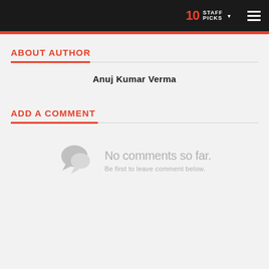10 STAFF PICKS
ABOUT AUTHOR
Anuj Kumar Verma
ADD A COMMENT
No comments so far. Be first to leave comment below.